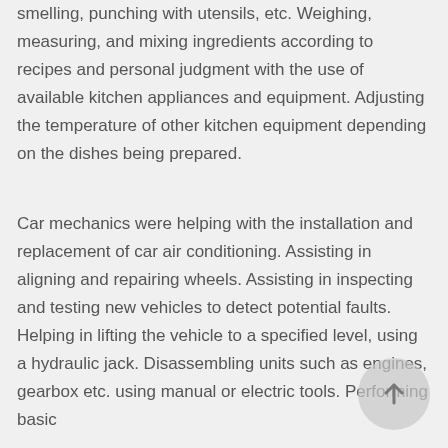smelling, punching with utensils, etc. Weighing, measuring, and mixing ingredients according to recipes and personal judgment with the use of available kitchen appliances and equipment. Adjusting the temperature of other kitchen equipment depending on the dishes being prepared.
Car mechanics were helping with the installation and replacement of car air conditioning. Assisting in aligning and repairing wheels. Assisting in inspecting and testing new vehicles to detect potential faults. Helping in lifting the vehicle to a specified level, using a hydraulic jack. Disassembling units such as engines, gearbox etc. using manual or electric tools. Performing basic